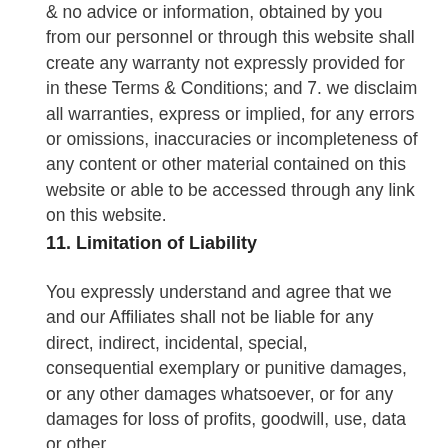& no advice or information, obtained by you from our personnel or through this website shall create any warranty not expressly provided for in these Terms & Conditions; and 7. we disclaim all warranties, express or implied, for any errors or omissions, inaccuracies or incompleteness of any content or other material contained on this website or able to be accessed through any link on this website.
11. Limitation of Liability
You expressly understand and agree that we and our Affiliates shall not be liable for any direct, indirect, incidental, special, consequential exemplary or punitive damages, or any other damages whatsoever, or for any damages for loss of profits, goodwill, use, data or other